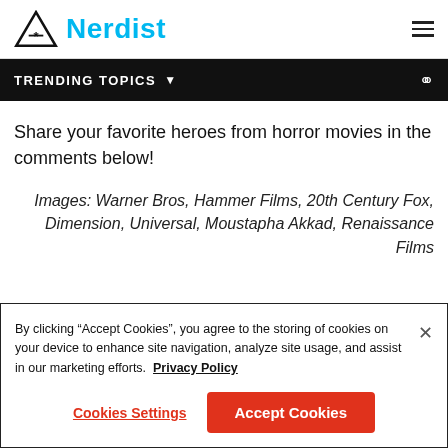Nerdist
TRENDING TOPICS
Share your favorite heroes from horror movies in the comments below!
Images: Warner Bros, Hammer Films, 20th Century Fox, Dimension, Universal, Moustapha Akkad, Renaissance Films
By clicking “Accept Cookies”, you agree to the storing of cookies on your device to enhance site navigation, analyze site usage, and assist in our marketing efforts. Privacy Policy